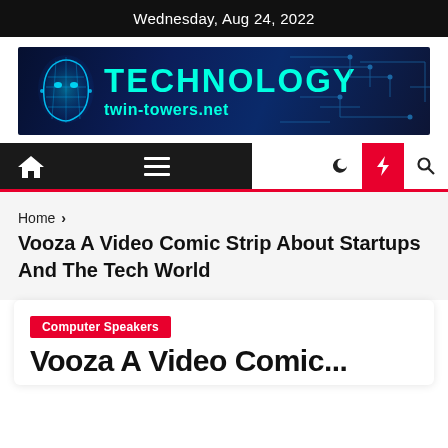Wednesday, Aug 24, 2022
[Figure (logo): Technology twin-towers.net banner with cyan text on dark blue background with circuit board design and digital human head graphic]
[Figure (screenshot): Navigation bar with home icon, hamburger menu, dark/light toggle, lightning bolt (red background), and search icon]
Home > Vooza A Video Comic Strip About Startups And The Tech World
Vooza A Video Comic Strip About Startups And The Tech World
Computer Speakers
Vooza A Video Comic...